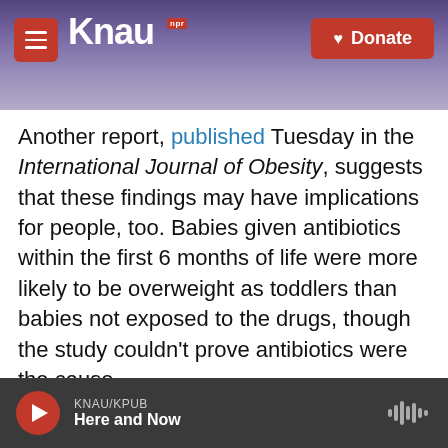[Figure (screenshot): KNAU NPR radio station website header with logo, menu button, and Donate button over a purple mountain background]
Another report, published Tuesday in the International Journal of Obesity, suggests that these findings may have implications for people, too. Babies given antibiotics within the first 6 months of life were more likely to be overweight as toddlers than babies not exposed to the drugs, though the study couldn't prove antibiotics were the cause.
Since the 1950s, farmers have known that small amounts of antibiotics increase the weight of livestock by as much as 15 percent. But exactly how these drugs fatten up cattle, pigs and chickens
KNAU/KPUB Here and Now